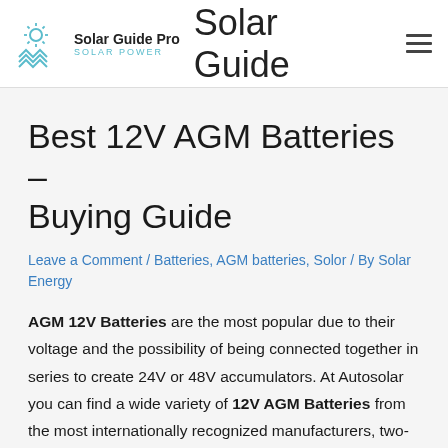Solar Guide Pro SOLAR POWER | Solar Guide
Best 12V AGM Batteries – Buying Guide
Leave a Comment / Batteries, AGM batteries, Solor / By Solar Energy
AGM 12V Batteries are the most popular due to their voltage and the possibility of being connected together in series to create 24V or 48V accumulators. At Autosolar you can find a wide variety of 12V AGM Batteries from the most internationally recognized manufacturers, two-year warranty and personalized attention by our photovoltaic technical experts.